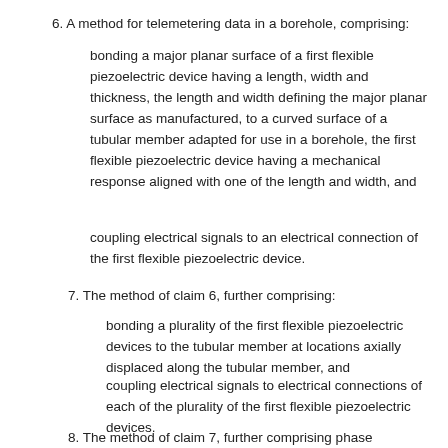6. A method for telemetering data in a borehole, comprising:
bonding a major planar surface of a first flexible piezoelectric device having a length, width and thickness, the length and width defining the major planar surface as manufactured, to a curved surface of a tubular member adapted for use in a borehole, the first flexible piezoelectric device having a mechanical response aligned with one of the length and width, and
coupling electrical signals to an electrical connection of the first flexible piezoelectric device.
7. The method of claim 6, further comprising:
bonding a plurality of the first flexible piezoelectric devices to the tubular member at locations axially displaced along the tubular member, and
coupling electrical signals to electrical connections of each of the plurality of the first flexible piezoelectric devices.
8. The method of claim 7, further comprising phase